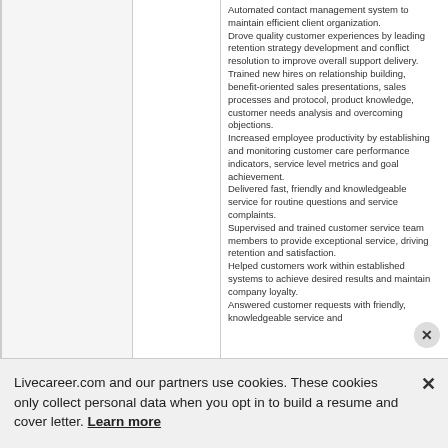Automated contact management system to maintain efficient client organization.
Drove quality customer experiences by leading retention strategy development and conflict resolution to improve overall support delivery.
Trained new hires on relationship building, benefit-oriented sales presentations, sales processes and protocol, product knowledge, customer needs analysis and overcoming objections.
Increased employee productivity by establishing and monitoring customer care performance indicators, service level metrics and goal achievement.
Delivered fast, friendly and knowledgeable service for routine questions and service complaints.
Supervised and trained customer service team members to provide exceptional service, driving retention and satisfaction.
Helped customers work within established systems to achieve desired results and maintain company loyalty.
Answered customer requests with friendly, knowledgeable service and
Livecareer.com and our partners use cookies. These cookies only collect personal data when you opt in to build a resume and cover letter. Learn more